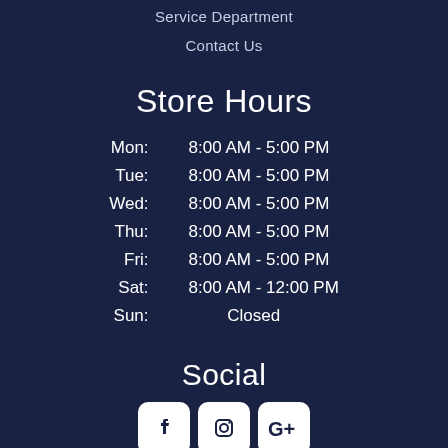Service Department
Contact Us
Store Hours
| Day | Hours |
| --- | --- |
| Mon: | 8:00 AM - 5:00 PM |
| Tue: | 8:00 AM - 5:00 PM |
| Wed: | 8:00 AM - 5:00 PM |
| Thu: | 8:00 AM - 5:00 PM |
| Fri: | 8:00 AM - 5:00 PM |
| Sat: | 8:00 AM - 12:00 PM |
| Sun: | Closed |
Social
[Figure (other): Social media icons: Facebook, Instagram, Google+]